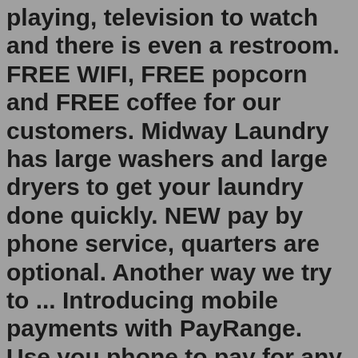playing, television to watch and there is even a restroom. FREE WIFI, FREE popcorn and FREE coffee for our customers. Midway Laundry has large washers and large dryers to get your laundry done quickly. NEW pay by phone service, quarters are optional. Another way we try to ... Introducing mobile payments with PayRange. Use you phone to pay for any machine in our store. Even the vending machines! Phone Requirements Android Operating System 4.3 (Jelly Bean) or higher iPhone Model 4s or newer (OS 7.1 or higher) PayRange FAQ's Download for Free How to Use PayRange Videos Getting Started: Washing Machine PayRange WasherFalling Waters. Coins are optional! Use PayRange Mobile App to start your machines and earn awesome rewards. This laundromat is clean and well lit with help available 24/7. Open 365 days a year. Dexter 60# $5.50. Dexter 90# $7.00. Dexter Dryer 30# Stack $0.25 (9min) Dexter Dryer 50# $0.25 (6 min) **Washer prices are per load of laundry. There are also soap vending machines sporting Tide. Downy. Oxi Clean. Bounce.